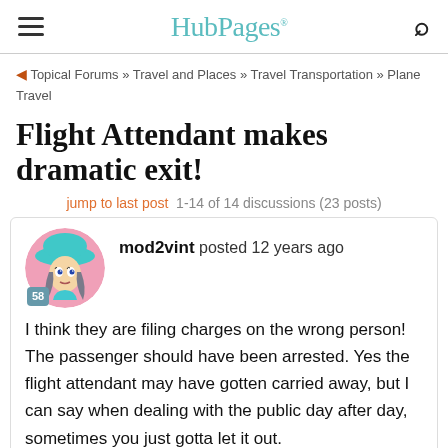HubPages
Topical Forums » Travel and Places » Travel Transportation » Plane Travel
Flight Attendant makes dramatic exit!
jump to last post  1-14 of 14 discussions (23 posts)
mod2vint posted 12 years ago
I think they are filing charges on the wrong person! The passenger should have been arrested. Yes the flight attendant may have gotten carried away, but I can say when dealing with the public day after day, sometimes you just gotta let it out.